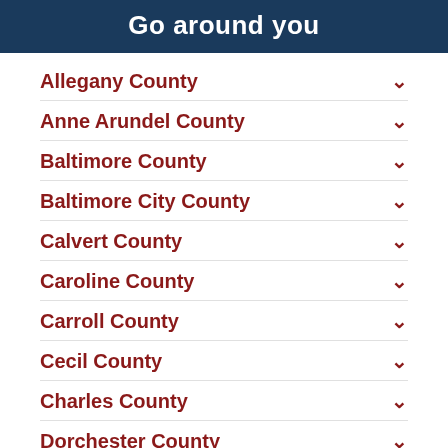Go around you
Allegany County
Anne Arundel County
Baltimore County
Baltimore City County
Calvert County
Caroline County
Carroll County
Cecil County
Charles County
Dorchester County